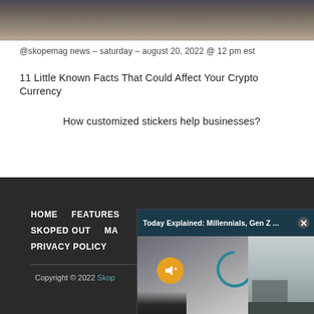[Figure (photo): Partial photo of two people, cropped at top of page showing shoulders/torsos]
@skopemag news – saturday – august 20, 2022 @ 12 pm est
11 Little Known Facts That Could Affect Your Crypto Currency
How customized stickers help businesses?
HOME   FEATURES   SKOPED OUT   MA   PRIVACY POLICY   Copyright © 2022 Skop
[Figure (screenshot): Video popup overlay titled 'Today Explained: Millennials, Gen Z ...' with a close button, mute button, loading spinner, and thumbnail of a person at a desk]